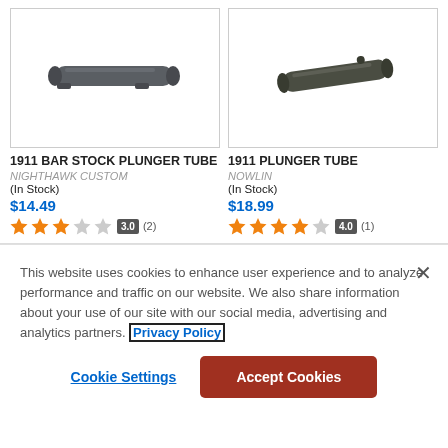[Figure (photo): Photo of 1911 Bar Stock Plunger Tube, a dark metal cylindrical tube part]
[Figure (photo): Photo of 1911 Plunger Tube, a dark metal cylindrical tube part]
1911 BAR STOCK PLUNGER TUBE
NIGHTHAWK CUSTOM
(In Stock)
$14.49
3.0 (2)
1911 PLUNGER TUBE
NOWLIN
(In Stock)
$18.99
4.0 (1)
This website uses cookies to enhance user experience and to analyze performance and traffic on our website. We also share information about your use of our site with our social media, advertising and analytics partners. Privacy Policy
Cookie Settings
Accept Cookies